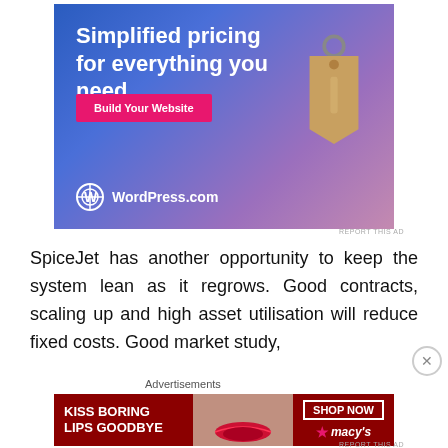[Figure (illustration): WordPress.com advertisement with gradient blue-purple background, showing text 'Simplified pricing for everything you need.' with a pink 'Build Your Website' button and a price tag graphic. WordPress.com logo at bottom.]
REPORT THIS AD
SpiceJet has another opportunity to keep the system lean as it regrows. Good contracts, scaling up and high asset utilisation will reduce fixed costs. Good market study,
Advertisements
[Figure (illustration): Macy's advertisement with dark red background showing a woman's face with red lips, text 'KISS BORING LIPS GOODBYE', 'SHOP NOW' button, and Macy's star logo.]